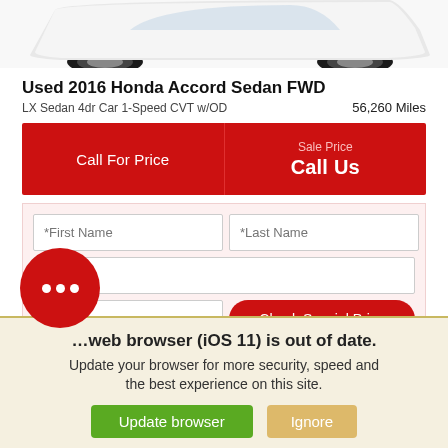[Figure (photo): Partial view of a white Honda Accord sedan, showing the lower front and rear of the car from above]
Used 2016 Honda Accord Sedan FWD
LX Sedan 4dr Car 1-Speed CVT w/OD    56,260 Miles
Call For Price  |  Sale Price: Call Us
*First Name  *Last Name  *Email  Phone  Check Special Price
Your web browser (iOS 11) is out of date. Update your browser for more security, speed and the best experience on this site. [Update browser] [Ignore]